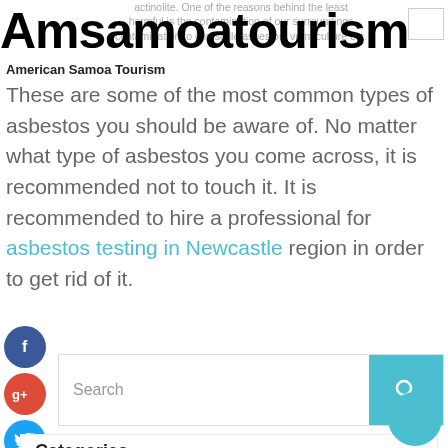actinolite. One of the reasons behind the least harmful is the contamination of our surroundings from actinolite contamination to chrysotile asbestos, vermiculture etc.
Amsamoatourism
American Samoa Tourism
These are some of the most common types of asbestos you should be aware of. No matter what type of asbestos you come across, it is recommended not to touch it. It is recommended to hire a professional for asbestos testing in Newcastle region in order to get rid of it.
[Figure (infographic): Social media share icons: Facebook (blue circle with f), Google+ (red circle with g+), Twitter (blue circle with bird), plus/add (dark blue circle with +)]
[Figure (screenshot): Search bar with teal search button and magnifying glass icon]
Categories